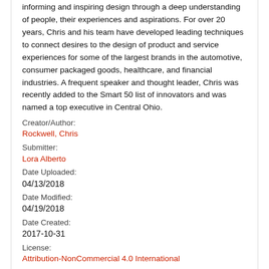informing and inspiring design through a deep understanding of people, their experiences and aspirations. For over 20 years, Chris and his team have developed leading techniques to connect desires to the design of product and service experiences for some of the largest brands in the automotive, consumer packaged goods, healthcare, and financial industries. A frequent speaker and thought leader, Chris was recently added to the Smart 50 list of innovators and was named a top executive in Central Ohio.
Creator/Author:
Rockwell, Chris
Submitter:
Lora Alberto
Date Uploaded:
04/13/2018
Date Modified:
04/19/2018
Date Created:
2017-10-31
License:
Attribution-NonCommercial 4.0 International